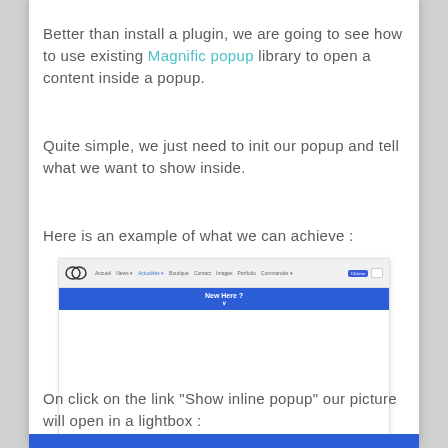Better than install a plugin, we are going to see how to use existing Magnific popup library to open a content inside a popup.
Quite simple, we just need to init our popup and tell what we want to show inside.
Here is an example of what we can achieve :
[Figure (screenshot): Screenshot of a website with navigation bar, a blue 'New Here?' banner with arrow, and white content area below. Small footer text visible at bottom.]
On click on the link "Show inline popup" our picture will open in a lightbox :